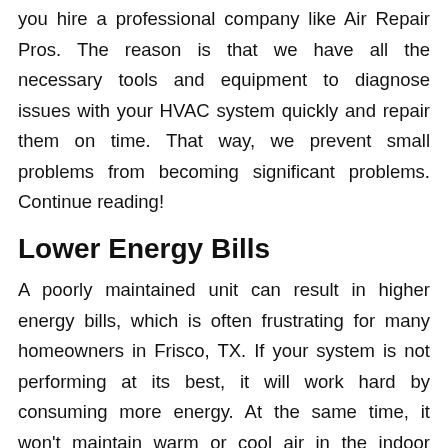you hire a professional company like Air Repair Pros. The reason is that we have all the necessary tools and equipment to diagnose issues with your HVAC system quickly and repair them on time. That way, we prevent small problems from becoming significant problems. Continue reading!
Lower Energy Bills
A poorly maintained unit can result in higher energy bills, which is often frustrating for many homeowners in Frisco, TX. If your system is not performing at its best, it will work hard by consuming more energy. At the same time, it won't maintain warm or cool air in the indoor space, discomforting your family.